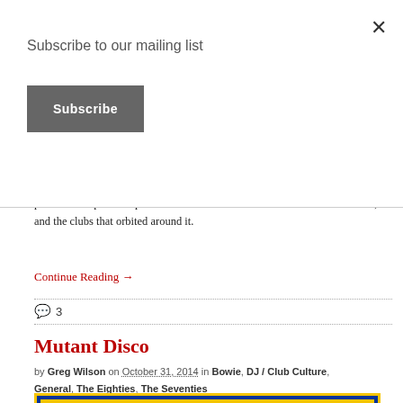Subscribe to our mailing list
Subscribe
in more recent times, but as you'd expect given Dave's Haçienda legacy, particular emphasis is placed on his time as DJ at the much-hallowed venue, and the clubs that orbited around it.
Continue Reading →
3
Mutant Disco
by Greg Wilson on October 31, 2014 in Bowie, DJ / Club Culture, General, The Eighties, The Seventies
[Figure (illustration): Yellow background image with blue banner reading FUNK ART in white bold letters]